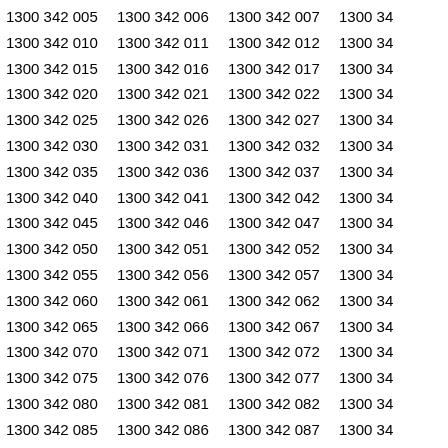| Col1 | Col2 | Col3 | Col4 |
| --- | --- | --- | --- |
| 1300 342 005 | 1300 342 006 | 1300 342 007 | 1300 34 |
| 1300 342 010 | 1300 342 011 | 1300 342 012 | 1300 34 |
| 1300 342 015 | 1300 342 016 | 1300 342 017 | 1300 34 |
| 1300 342 020 | 1300 342 021 | 1300 342 022 | 1300 34 |
| 1300 342 025 | 1300 342 026 | 1300 342 027 | 1300 34 |
| 1300 342 030 | 1300 342 031 | 1300 342 032 | 1300 34 |
| 1300 342 035 | 1300 342 036 | 1300 342 037 | 1300 34 |
| 1300 342 040 | 1300 342 041 | 1300 342 042 | 1300 34 |
| 1300 342 045 | 1300 342 046 | 1300 342 047 | 1300 34 |
| 1300 342 050 | 1300 342 051 | 1300 342 052 | 1300 34 |
| 1300 342 055 | 1300 342 056 | 1300 342 057 | 1300 34 |
| 1300 342 060 | 1300 342 061 | 1300 342 062 | 1300 34 |
| 1300 342 065 | 1300 342 066 | 1300 342 067 | 1300 34 |
| 1300 342 070 | 1300 342 071 | 1300 342 072 | 1300 34 |
| 1300 342 075 | 1300 342 076 | 1300 342 077 | 1300 34 |
| 1300 342 080 | 1300 342 081 | 1300 342 082 | 1300 34 |
| 1300 342 085 | 1300 342 086 | 1300 342 087 | 1300 34 |
| 1300 342 090 | 1300 342 091 | 1300 342 092 | 1300 34 |
| 1300 342 095 | 1300 342 096 | 1300 342 097 | 1300 34 |
| 1300 342 100 | 1300 342 101 | 1300 342 102 | 1300 34 |
| 1300 342 105 | 1300 342 106 | 1300 342 107 | 1300 34 |
| 1300 342 110 | 1300 342 111 | 1300 342 112 | 1300 34 |
| 1300 342 115 | 1300 342 116 | 1300 342 117 | 1300 34 |
| 1300 342 120 | 1300 342 121 | 1300 342 122 | 1300 3 |